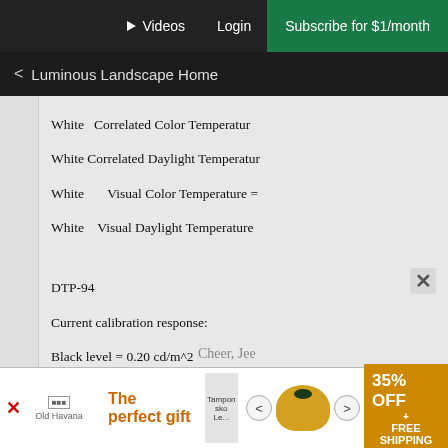Videos  Login  Subscribe for $1/month
< Luminous Landscape Home
White   Correlated Color Temperature
White Correlated Daylight Temperature
White       Visual Color Temperature =
White    Visual Daylight Temperature

DTP-94
Current calibration response:
Black level = 0.20 cd/m^2
White level = 104.49 cd/m^2
Aprox. gamma = 2.34
Contrast ratio = 522:1
White chromaticity coordinates 0.3293
White    Correlated Color Temperature
White Correlated Daylight Temperature
White       Visual Color Temperature =
White    Visual Daylight Temperature
The instrument can be removed from
[Figure (screenshot): Advertisement banner: The perfect gift, 35% OFF + FREE SHIPPING]
Cheer, Jee